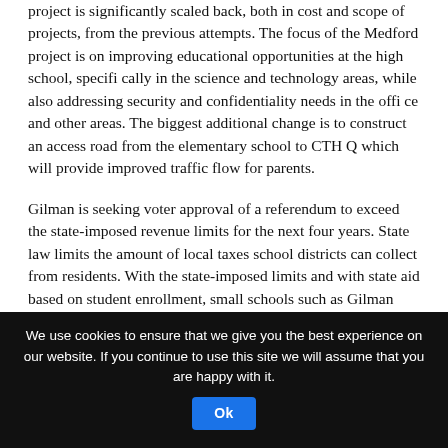project is significantly scaled back, both in cost and scope of projects, from the previous attempts. The focus of the Medford project is on improving educational opportunities at the high school, specifi cally in the science and technology areas, while also addressing security and confidentiality needs in the offi ce and other areas. The biggest additional change is to construct an access road from the elementary school to CTH Q which will provide improved traffic flow for parents.
Gilman is seeking voter approval of a referendum to exceed the state-imposed revenue limits for the next four years. State law limits the amount of local taxes school districts can collect from residents. With the state-imposed limits and with state aid based on student enrollment, small schools such as Gilman that face declining enrollment get hit with a double whammy as state aid declines leaving the district unable to cover the difference.
We use cookies to ensure that we give you the best experience on our website. If you continue to use this site we will assume that you are happy with it. Ok